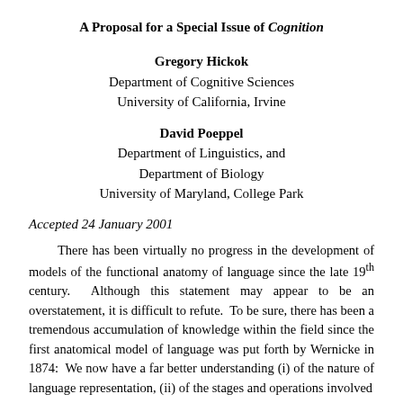A Proposal for a Special Issue of Cognition
Gregory Hickok
Department of Cognitive Sciences
University of California, Irvine
David Poeppel
Department of Linguistics, and
Department of Biology
University of Maryland, College Park
Accepted 24 January 2001
There has been virtually no progress in the development of models of the functional anatomy of language since the late 19th century. Although this statement may appear to be an overstatement, it is difficult to refute. To be sure, there has been a tremendous accumulation of knowledge within the field since the first anatomical model of language was put forth by Wernicke in 1874: We now have a far better understanding (i) of the nature of language representation, (ii) of the stages and operations involved